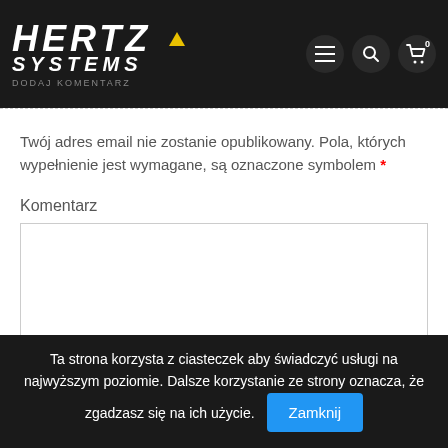HERTZ SYSTEMS — DODAJ
Twój adres email nie zostanie opublikowany. Pola, których wypełnienie jest wymagane, są oznaczone symbolem *
Komentarz
Ta strona korzysta z ciasteczek aby świadczyć usługi na najwyższym poziomie. Dalsze korzystanie ze strony oznacza, że zgadzasz się na ich użycie. Zamknij